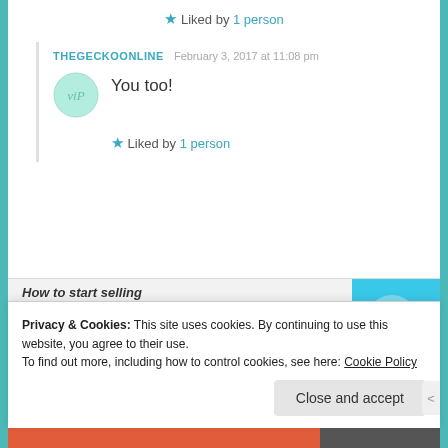★ Liked by 1 person
THEGECKOONLINE   February 3, 2017 at 11:08 pm
You too!
★ Liked by 1 person
[Figure (other): Advertisement banner showing text 'How to start selling subscriptions online' with a purple button and teal graphic shape on the right]
Privacy & Cookies: This site uses cookies. By continuing to use this website, you agree to their use.
To find out more, including how to control cookies, see here: Cookie Policy
Close and accept